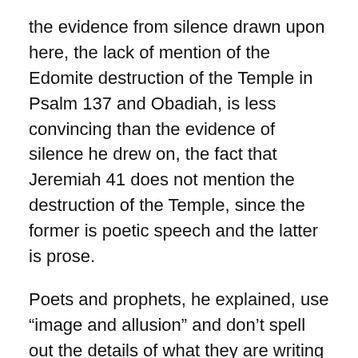the evidence from silence drawn upon here, the lack of mention of the Edomite destruction of the Temple in Psalm 137 and Obadiah, is less convincing than the evidence of silence he drew on, the fact that Jeremiah 41 does not mention the destruction of the Temple, since the former is poetic speech and the latter is prose.
Poets and prophets, he explained, use “image and allusion” and don’t spell out the details of what they are writing about in the same way that writers of prose do. As for the unreliability of 1 Esdras, he does not think its lateness is a problem. The author of this book, he says, may have used ancient and historically accurate sources, which have not come down to us. He also rejects the possibility that the pilgrims in the Gedaliah story would have offered sacrifices on the site of the destroyed Temple, since this would be “a direct violation of the law”...